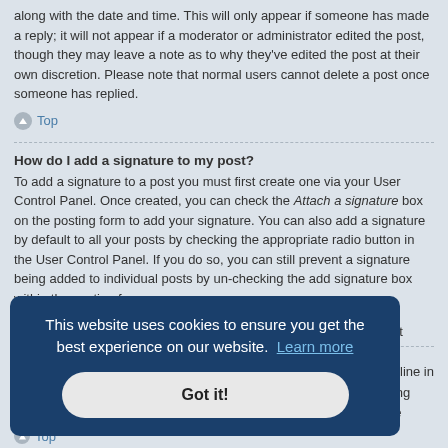along with the date and time. This will only appear if someone has made a reply; it will not appear if a moderator or administrator edited the post, though they may leave a note as to why they've edited the post at their own discretion. Please note that normal users cannot delete a post once someone has replied.
Top
How do I add a signature to my post?
To add a signature to a post you must first create one via your User Control Panel. Once created, you can check the Attach a signature box on the posting form to add your signature. You can also add a signature by default to all your posts by checking the appropriate radio button in the User Control Panel. If you do so, you can still prevent a signature being added to individual posts by un-checking the add signature box within the posting form.
Top
This website uses cookies to ensure you get the best experience on our website. Learn more
Got it!
oll
o not
wo
rate line in
during
finite
Top